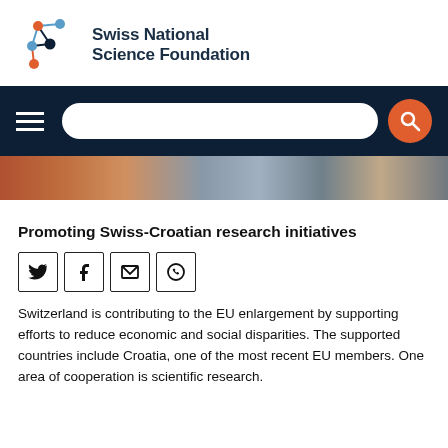[Figure (logo): Swiss National Science Foundation logo with network node graphic and bold dark blue text]
[Figure (screenshot): Dark navy navigation bar with hamburger menu, white rounded search bar, and orange circular search button icon]
[Figure (photo): Aerial photo strip showing city rooftops and streets from above]
Promoting Swiss-Croatian research initiatives
[Figure (infographic): Row of four social media sharing icons: Twitter, Facebook, Email, WhatsApp]
Switzerland is contributing to the EU enlargement by supporting efforts to reduce economic and social disparities. The supported countries include Croatia, one of the most recent EU members. One area of cooperation is scientific research.